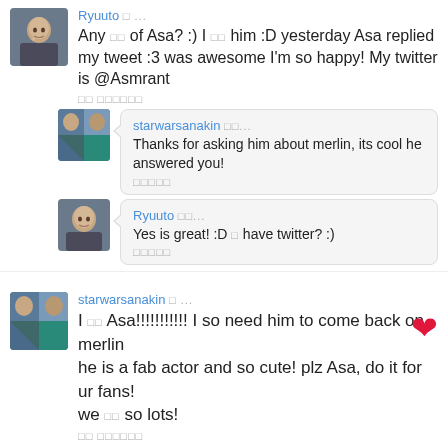[Figure (screenshot): Social media comment thread showing multiple user posts about Asa Butterfield and the TV show Merlin]
Ryuuto □ ... Any □□ of Asa? :) I □□ him :D yesterday Asa replied my tweet :3 was awesome I'm so happy! My twitter is @Asmrant □□ □□□□□□
starwarsanakin □□... Thanks for asking him about merlin, its cool he answered you! □□□□□
Ryuuto □□... Yes is great! :D □ have twitter? :) □□□□□
starwarsanakin □ ... I □□ Asa!!!!!!!!!!! I so need him to come back on merlin he is a fab actor and so cute! plz Asa, do it for ur fans! we □□ so lots! □□ □□□□□□
MordredAsa □□...